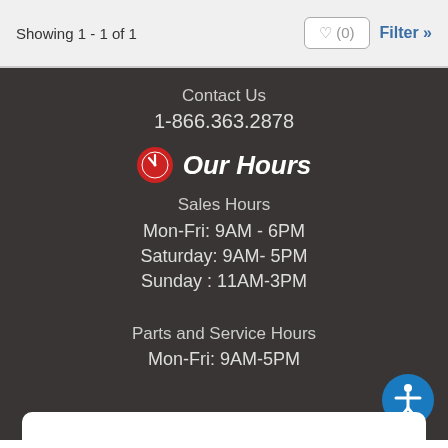Showing 1 - 1 of 1
♥ (0)
Filter »
Contact Us
1-866.363.2878
Our Hours
Sales Hours
Mon-Fri: 9AM - 6PM
Saturday: 9AM- 5PM
Sunday : 11AM-3PM
Parts and Service Hours
Mon-Fri: 9AM-5PM